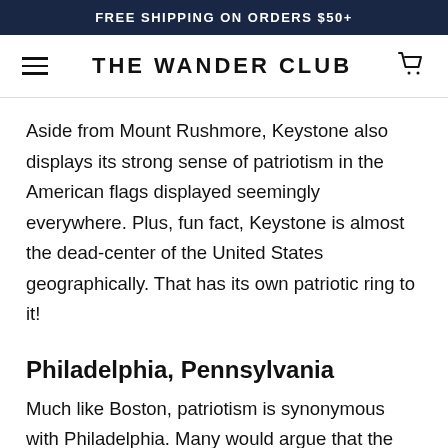FREE SHIPPING ON ORDERS $50+
THE WANDER CLUB
Aside from Mount Rushmore, Keystone also displays its strong sense of patriotism in the American flags displayed seemingly everywhere. Plus, fun fact, Keystone is almost the dead-center of the United States geographically. That has its own patriotic ring to it!
Philadelphia, Pennsylvania
Much like Boston, patriotism is synonymous with Philadelphia. Many would argue that the City of